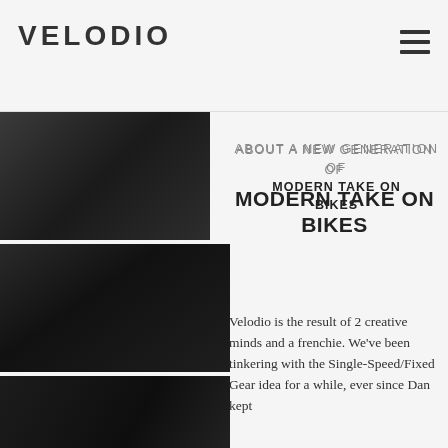VELODIO
[Figure (photo): Close-up dark photos of bicycle frames and components shown in three stacked panels on the left side of the page]
ABOUT A NEW GENERATION OF
MODERN TAKE ON BIKES
Velodio is the result of 2 creative minds and a frenchie. We've been tinkering with the Single-Speed/Fixed Gear idea for a while, ever since Dan kept